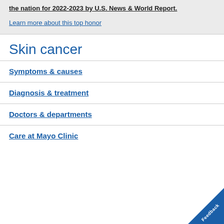the nation for 2022-2023 by U.S. News & World Report.
Learn more about this top honor
Skin cancer
Symptoms & causes
Diagnosis & treatment
Doctors & departments
Care at Mayo Clinic